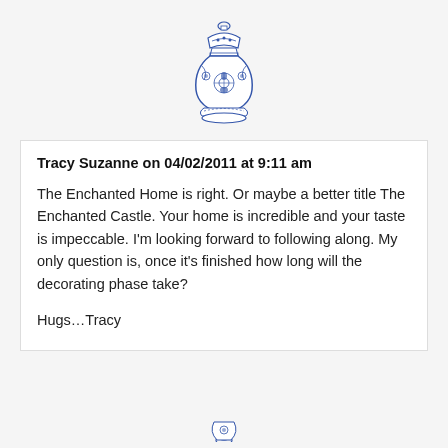[Figure (illustration): Blue and white decorative Chinese-style ginger jar/vase illustration centered at top of page]
Tracy Suzanne on 04/02/2011 at 9:11 am
The Enchanted Home is right. Or maybe a better title The Enchanted Castle. Your home is incredible and your taste is impeccable. I’m looking forward to following along. My only question is, once it’s finished how long will the decorating phase take?
Hugs…Tracy
[Figure (illustration): Partial blue decorative element visible at bottom center of page]